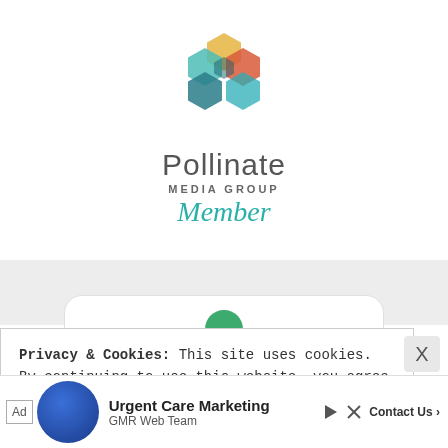[Figure (logo): Pollinate Media Group logo - colorful hexagonal flower made of overlapping hexagons in teal, orange, red, yellow, and dark teal colors]
Pollinate
MEDIA GROUP
Member
Privacy & Cookies: This site uses cookies. By continuing to use this website, you agree to their use.
To find out more, including how to control cookies, see here: Cookie Policy
[Figure (photo): Advertisement banner: Ad label, photo of a person, Urgent Care Marketing, GMR Web Team, Contact Us button]